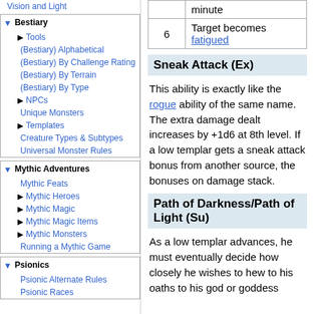Vision and Light
Bestiary
Tools
(Bestiary) Alphabetical
(Bestiary) By Challenge Rating
(Bestiary) By Terrain
(Bestiary) By Type
NPCs
Unique Monsters
Templates
Creature Types & Subtypes
Universal Monster Rules
Mythic Adventures
Mythic Feats
Mythic Heroes
Mythic Magic
Mythic Magic Items
Mythic Monsters
Running a Mythic Game
Psionics
Psionic Alternate Rules
Psionic Races
|  |  |
| --- | --- |
|  | minute |
| 6 | Target becomes fatigued |
Sneak Attack (Ex)
This ability is exactly like the rogue ability of the same name. The extra damage dealt increases by +1d6 at 8th level. If a low templar gets a sneak attack bonus from another source, the bonuses on damage stack.
Path of Darkness/Path of Light (Su)
As a low templar advances, he must eventually decide how closely he wishes to hew to his oaths to his god or goddess